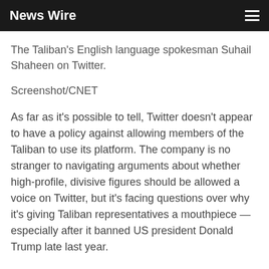News Wire
The Taliban's English language spokesman Suhail Shaheen on Twitter.
Screenshot/CNET
As far as it's possible to tell, Twitter doesn't appear to have a policy against allowing members of the Taliban to use its platform. The company is no stranger to navigating arguments about whether high-profile, divisive figures should be allowed a voice on Twitter, but it's facing questions over why it's giving Taliban representatives a mouthpiece — especially after it banned US president Donald Trump late last year.